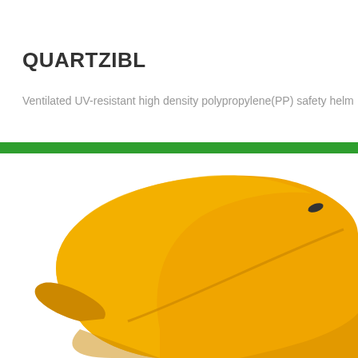QUARTZIBL
Ventilated UV-resistant high density polypropylene(PP) safety helm
[Figure (photo): Yellow safety helmet shown from above/side angle against white background, with a green horizontal band across the page separating the header from the product image.]